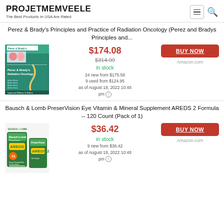PROJETMEMVEELE – The Best Products In USA Are Rated
Perez & Brady's Principles and Practice of Radiation Oncology (Perez and Bradys Principles and...
[Figure (photo): Book cover of Perez & Brady's Radiation Oncology textbook, green cover with medical images]
$174.08
$314.99
in stock
24 new from $175.58
9 used from $124.95
as of August 18, 2022 10:48 pm ⓘ
BUY NOW
Amazon.com
Bausch & Lomb PreserVision Eye Vitamin & Mineral Supplement AREDS 2 Formula -- 120 Count (Pack of 1)
[Figure (photo): PreserVision AREDS 2 eye vitamin supplement product photo, two green/blue containers]
$36.42
in stock
9 new from $36.42
as of August 18, 2022 10:48 pm ⓘ
BUY NOW
Amazon.com